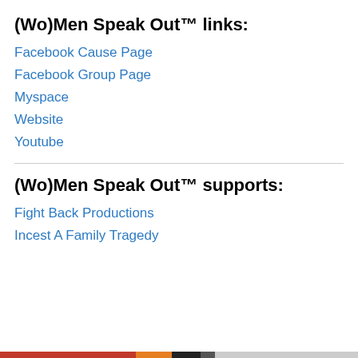(Wo)Men Speak Out™ links:
Facebook Cause Page
Facebook Group Page
Myspace
Website
Youtube
(Wo)Men Speak Out™ supports:
Fight Back Productions
Incest A Family Tragedy
Privacy & Cookies: This site uses cookies. By continuing to use this website, you agree to their use.
To find out more, including how to control cookies, see here: Cookie Policy